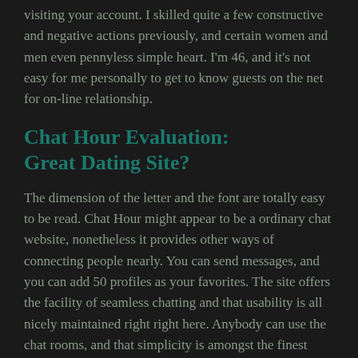visiting your account. I skilled quite a few constructive and negative actions previously, and certain women and men even pennyless simple heart. I'm 46, and it's not easy for me personally to get to know guests on the net for on-line relationship.
Chat Hour Evaluation: Great Dating Site?
The dimension of the letter and the font are totally easy to be read. Chat Hour might appear to be a ordinary chat website, nonetheless it provides other ways of connecting people nearly. You can send messages, and you can add 50 profiles as your favorites. The site offers the facility of seamless chatting and that usability is all nicely maintained right right here. Anybody can use the chat rooms, and that simplicity is amongst the finest conveniences of utilizing this relationship web site.